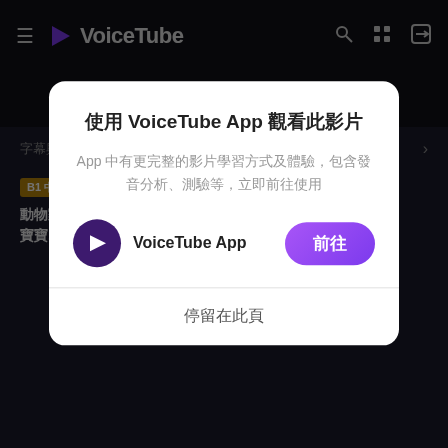VoiceTube
字幕與單字 由 AI 自動生成
B1 中級  初次  #北極 #冰山 #企鵝 #乒乓球 #家人 #媽媽
動物家族介紹 | 舞蹈冒險 | 兒童故事 | 卡通舞蹈 | 粉紅黛魚寶寶
使用 VoiceTube App 觀看此影片
App 中有更完整的影片學習方式及體驗，包含發音分析、測驗等，立即前往使用
VoiceTube App
前往
停留在此頁